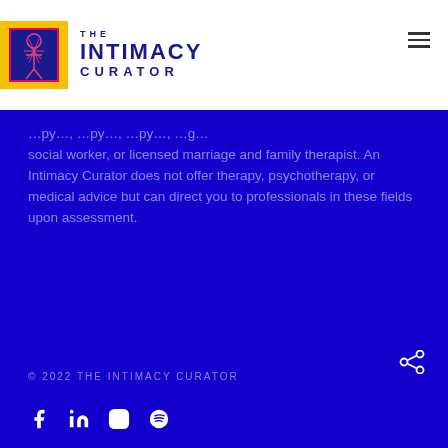[Figure (logo): The Intimacy Curator logo with illustrated figure and text]
social worker, or licensed marriage and family therapist. An Intimacy Curator does not offer therapy, psychotherapy, or medical advice but can direct you to professionals in these fields upon assessment.
© 2022 THE INTIMACY CURATOR